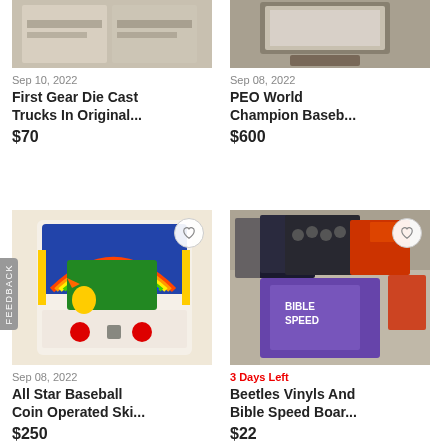[Figure (photo): Cardboard boxes, cropped top portion visible]
Sep 10, 2022
First Gear Die Cast Trucks In Original...
$70
[Figure (photo): Framed item on wooden base, cropped top portion visible]
Sep 08, 2022
PEO World Champion Baseb...
$600
[Figure (photo): All Star Baseball coin operated skill game machine with colorful artwork]
Sep 08, 2022
All Star Baseball Coin Operated Ski...
$250
[Figure (photo): Collection of vinyl records including Beatles and Bible Speed Board game]
3 Days Left
Beetles Vinyls And Bible Speed Boar...
$22